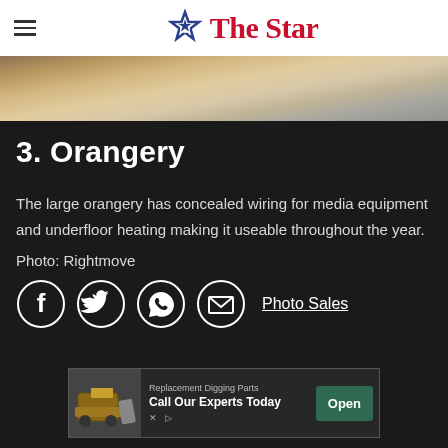The Star
[Figure (photo): Bottom portion of a room with light wood laminate flooring and part of a sofa visible]
3. Orangery
The large orangery has concealed wiring for media equipment and underfloor heating making it useable throughout the year.
Photo: Rightmove
[Figure (infographic): Social sharing icons: Facebook, Twitter, WhatsApp, Email circles, and a Photo Sales link]
[Figure (infographic): Advertisement banner: Replacement Digging Parts - Call Our Experts Today - Open button]